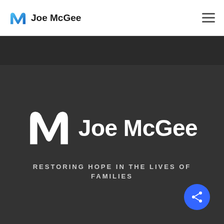Joe McGee
[Figure (logo): Joe McGee branded logo with stylized M mark and text 'Joe McGee' on dark background]
RESTORING HOPE IN THE LIVES OF FAMILIES